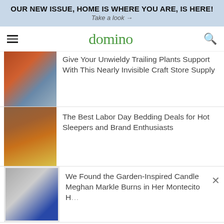OUR NEW ISSUE, HOME IS WHERE YOU ARE, IS HERE! Take a look →
domino
Give Your Unwieldy Trailing Plants Support With This Nearly Invisible Craft Store Supply
The Best Labor Day Bedding Deals for Hot Sleepers and Brand Enthusiasts
We Found the Garden-Inspired Candle Meghan Markle Burns in Her Montecito Home